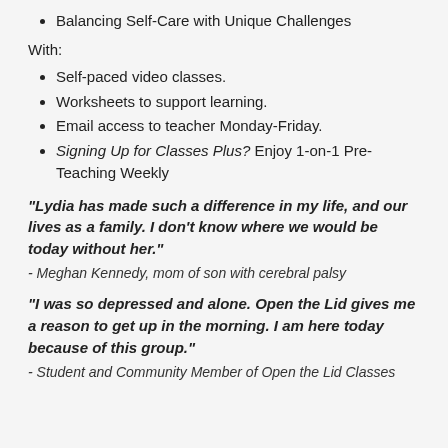Balancing Self-Care with Unique Challenges
With:
Self-paced video classes.
Worksheets to support learning.
Email access to teacher Monday-Friday.
Signing Up for Classes Plus? Enjoy 1-on-1 Pre-Teaching Weekly
"Lydia has made such a difference in my life, and our lives as a family. I don't know where we would be today without her."
- Meghan Kennedy, mom of son with cerebral palsy
"I was so depressed and alone. Open the Lid gives me a reason to get up in the morning. I am here today because of this group."
- Student and Community Member of Open the Lid Classes